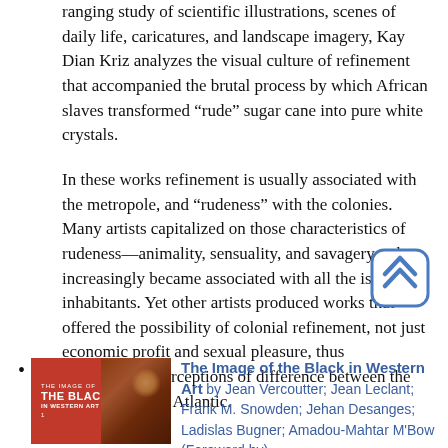ranging study of scientific illustrations, scenes of daily life, caricatures, and landscape imagery, Kay Dian Kriz analyzes the visual culture of refinement that accompanied the brutal process by which African slaves transformed “rude” sugar cane into pure white crystals.
In these works refinement is usually associated with the metropole, and “rudeness” with the colonies. Many artists capitalized on those characteristics of rudeness—animality, sensuality, and savagery—that increasingly became associated with all the island inhabitants. Yet other artists produced works that offered the possibility of colonial refinement, not just economic profit and sexual pleasure, thus complicating perceptions of difference between the two sides of the Atlantic.
The Image of the Black in Western Art by Jean Vercoutter; Jean Leclant; Frank M. Snowden; Jehan Desanges; Ladislas Bugner; Amadou-Mahtar M'Bow (Foreword by)
[Figure (illustration): Book cover of 'The Image of the Black in Western Art' showing a profile of a Black person's face in reddish-brown tones with text overlay]
[Figure (other): Scroll-to-top icon: rounded square button with double chevron arrows pointing upward, blue border]